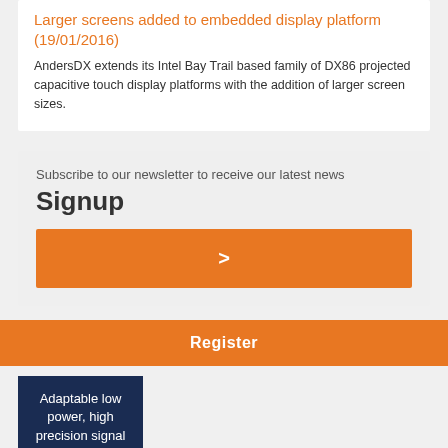Larger screens added to embedded display platform (19/01/2016)
AndersDX extends its Intel Bay Trail based family of DX86 projected capacitive touch display platforms with the addition of larger screen sizes.
Subscribe to our newsletter to receive our latest news
Signup
>
Register
Adaptable low power, high precision signal chain platform supports multiple